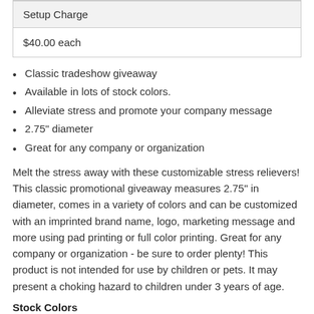| Setup Charge |  |
| --- | --- |
| $40.00 each |  |
Classic tradeshow giveaway
Available in lots of stock colors.
Alleviate stress and promote your company message
2.75" diameter
Great for any company or organization
Melt the stress away with these customizable stress relievers! This classic promotional giveaway measures 2.75" in diameter, comes in a variety of colors and can be customized with an imprinted brand name, logo, marketing message and more using pad printing or full color printing. Great for any company or organization - be sure to order plenty! This product is not intended for use by children or pets. It may present a choking hazard to children under 3 years of age.
Stock Colors
2637430: White